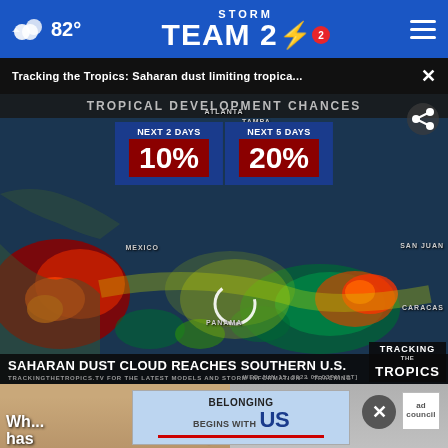82° Storm Team 2
Tracking the Tropics: Saharan dust limiting tropica... ×
[Figure (screenshot): Tropical weather map showing TROPICAL DEVELOPMENT CHANCES with NEXT 2 DAYS 10% and NEXT 5 DAYS 20%, overlaid on a satellite radar image of the Atlantic/Caribbean/Gulf region. Cities labeled: Atlanta, Tampa, Mexico, San Juan, Caracas, Panama. Lower bar reads: SAHARAN DUST CLOUD REACHES SOUTHERN U.S. and TRACKING THE TROPICS. Bottom ticker: TRACKINGTHETROPICS.TV FOR THE LATEST MODELS AND STORM INFORMATION. Timestamp: WED JUN 15, 2022 02:03PM [ST]]
Wh... cal has... p
[Figure (advertisement): Ad banner: BELONGING BEGINS WITH US with red underline and Ad Council badge]